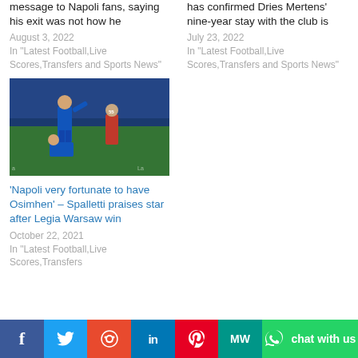message to Napoli fans, saying his exit was not how he
August 3, 2022
In "Latest Football,Live Scores,Transfers and Sports News"
has confirmed Dries Mertens' nine-year stay with the club is
July 23, 2022
In "Latest Football,Live Scores,Transfers and Sports News"
[Figure (photo): Football player in blue Napoli kit celebrating/gesturing on the pitch, with a red-shirted opponent nearby and stadium crowd in background]
'Napoli very fortunate to have Osimhen' – Spalletti praises star after Legia Warsaw win
October 22, 2021
In "Latest Football,Live Scores,Transfers and Sports News"
Facebook | Twitter | Reddit | LinkedIn | Pinterest | MW | WhatsApp chat with us